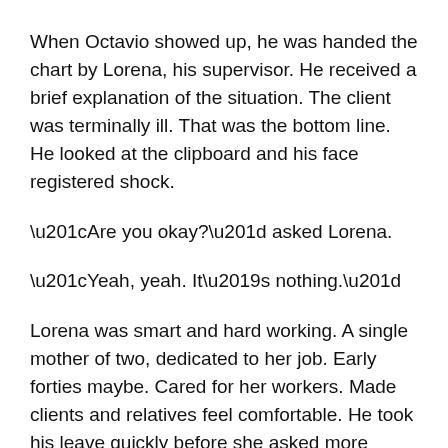When Octavio showed up, he was handed the chart by Lorena, his supervisor. He received a brief explanation of the situation. The client was terminally ill. That was the bottom line. He looked at the clipboard and his face registered shock.
“Are you okay?” asked Lorena.
“Yeah, yeah. It’s nothing.”
Lorena was smart and hard working. A single mother of two, dedicated to her job. Early forties maybe. Cared for her workers. Made clients and relatives feel comfortable. He took his leave quickly before she asked more questions. She knew him as Octavio Paz, dedicated and dependable. Not a whiner.